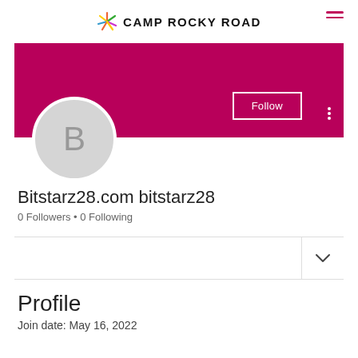CAMP ROCKY ROAD
[Figure (screenshot): User profile banner in magenta/deep pink color with Follow button and three-dots menu. Below banner: circular avatar with letter B, username Bitstarz28.com bitstarz28, 0 Followers, 0 Following.]
Bitstarz28.com bitstarz28
0 Followers • 0 Following
Profile
Join date: May 16, 2022